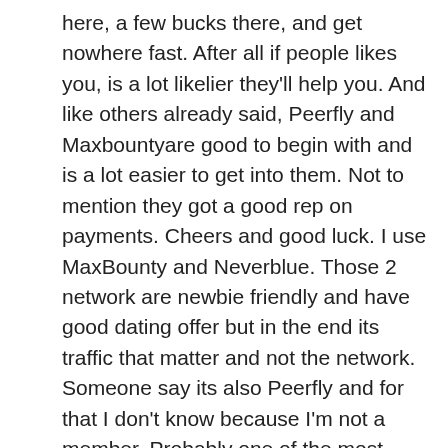here, a few bucks there, and get nowhere fast. After all if people likes you, is a lot likelier they'll help you. And like others already said, Peerfly and Maxbountyare good to begin with and is a lot easier to get into them. Not to mention they got a good rep on payments. Cheers and good luck. I use MaxBounty and Neverblue. Those 2 network are newbie friendly and have good dating offer but in the end its traffic that matter and not the network. Someone say its also Peerfly and for that I don't know because I'm not a member. Probably one of the most helpful and best dating cpa network oriented networks with best dating cpa network great dating offers, I would recommend you try out affiliaXe right away! When I saw the title I thought you are asking which one is good. DarioJan 1, I Think Maxbounty is good for you. And weekly payment term is perfect for beginners. DarioJan 2, What everyone else said. Society Invite also has quite a